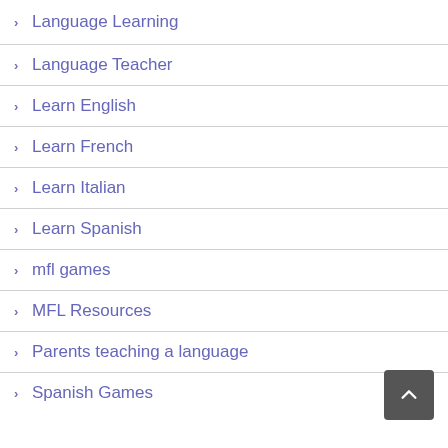Language Learning
Language Teacher
Learn English
Learn French
Learn Italian
Learn Spanish
mfl games
MFL Resources
Parents teaching a language
Spanish Games